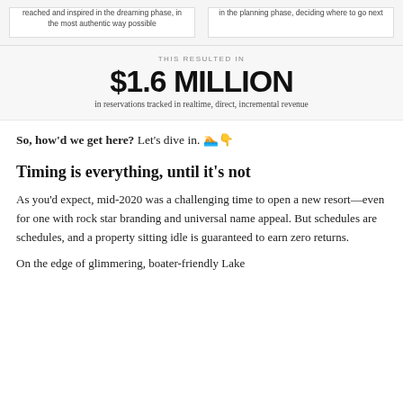reached and inspired in the dreaming phase, in the most authentic way possible
in the planning phase, deciding where to go next
THIS RESULTED IN
$1.6 MILLION
in reservations tracked in realtime, direct, incremental revenue
So, how'd we get here? Let's dive in. 🏊👇
Timing is everything, until it's not
As you'd expect, mid-2020 was a challenging time to open a new resort—even for one with rock star branding and universal name appeal. But schedules are schedules, and a property sitting idle is guaranteed to earn zero returns.
On the edge of glimmering, boater-friendly Lake